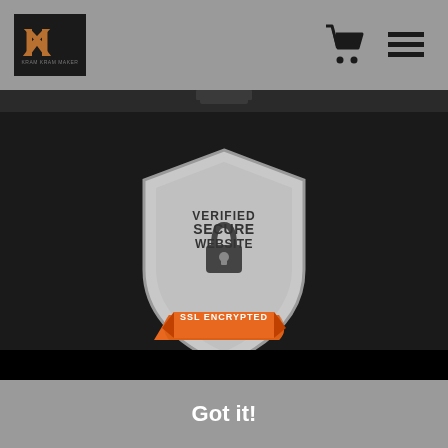[Figure (logo): KK brand logo — two mirrored K letters in orange/gold on dark background]
[Figure (illustration): Shopping cart icon (dark)]
[Figure (illustration): List/menu icon (dark)]
[Figure (illustration): Verified Secure Website SSL Encrypted shield badge — grey shield with padlock icon, orange ribbon banner reading SSL ENCRYPTED]
This website uses cookies to ensure you get the best experience on our website.
Got it!